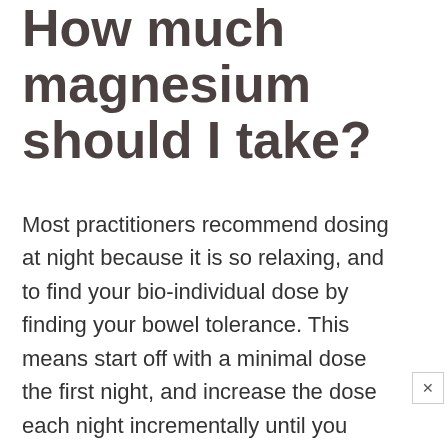How much magnesium should I take?
Most practitioners recommend dosing at night because it is so relaxing, and to find your bio-individual dose by finding your bowel tolerance. This means start off with a minimal dose the first night, and increase the dose each night incrementally until you wake up the next morning with loose stools.